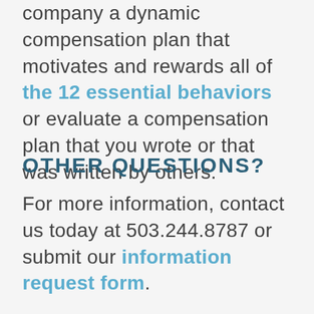We can design specifically for your company a dynamic compensation plan that motivates and rewards all of the 12 essential behaviors or evaluate a compensation plan that you wrote or that was written by others.
OTHER QUESTIONS?
For more information, contact us today at 503.244.8787 or submit our information request form.